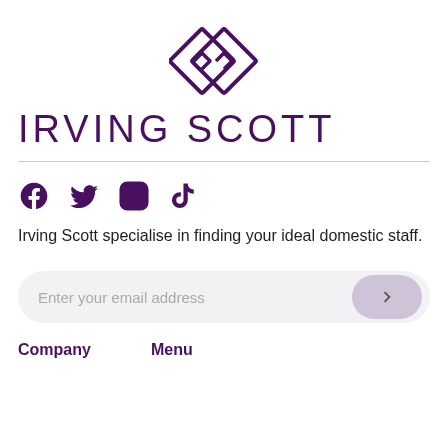[Figure (logo): Irving Scott logo — two overlapping diamond shapes in purple outline]
IRVING SCOTT
[Figure (infographic): Social media icons: Facebook, Twitter, Instagram, TikTok in purple]
Irving Scott specialise in finding your ideal domestic staff.
[Figure (screenshot): Email address input field with arrow button on right, light grey pill shape]
Company
Menu